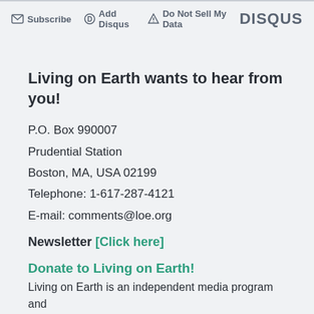Subscribe  Add Disqus  Do Not Sell My Data  DISQUS
Living on Earth wants to hear from you!
P.O. Box 990007
Prudential Station
Boston, MA, USA 02199
Telephone: 1-617-287-4121
E-mail: comments@loe.org
Newsletter [Click here]
Donate to Living on Earth!
Living on Earth is an independent media program and